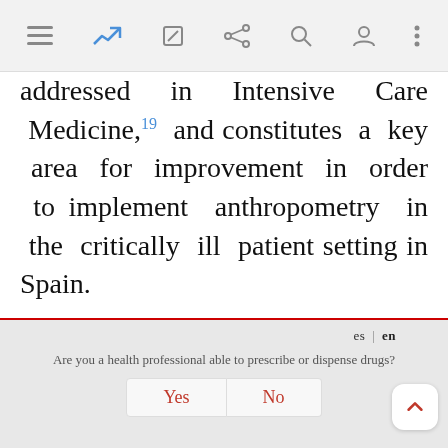[toolbar with navigation icons]
addressed in Intensive Care Medicine,¹19 and constitutes a key area for improvement in order to implement anthropometry in the critically ill patient setting in Spain.

The most common arguments cited in the literature to explain the low acceptance of the recommendation to measure the weight and height of critical patients are the lack of measurement instruments and also the difficulties of obtaining measurements in patients with limited mobility and
Are you a health professional able to prescribe or dispense drugs? Yes | No